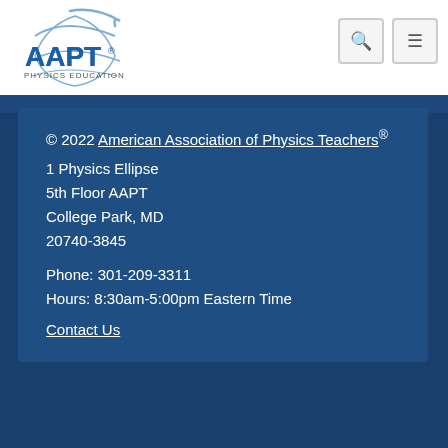[Figure (logo): AAPT Physics Education logo — blue stylized globe/arrow design with AAPT in large blue text and 'PHYSICS EDUCATION' below]
© 2022 American Association of Physics Teachers®
1 Physics Ellipse
5th Floor AAPT
College Park, MD
20740-3845
Phone: 301-209-3311
Hours: 8:30am-5:00pm Eastern Time
Contact Us